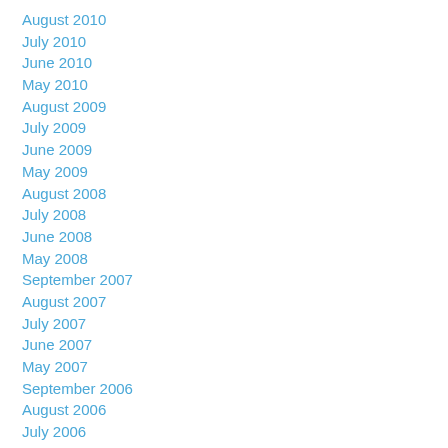August 2010
July 2010
June 2010
May 2010
August 2009
July 2009
June 2009
May 2009
August 2008
July 2008
June 2008
May 2008
September 2007
August 2007
July 2007
June 2007
May 2007
September 2006
August 2006
July 2006